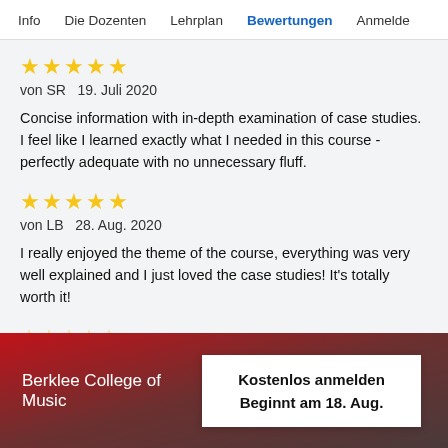Info   Die Dozenten   Lehrplan   Bewertungen   Anmelde
★★★★★
von SR  19. Juli 2020

Concise information with in-depth examination of case studies. I feel like I learned exactly what I needed in this course - perfectly adequate with no unnecessary fluff.
★★★★★
von LB  28. Aug. 2020

I really enjoyed the theme of the course, everything was very well explained and I just loved the case studies! It's totally worth it!
Berklee College of Music
Kostenlos anmelden
Beginnt am 18. Aug.